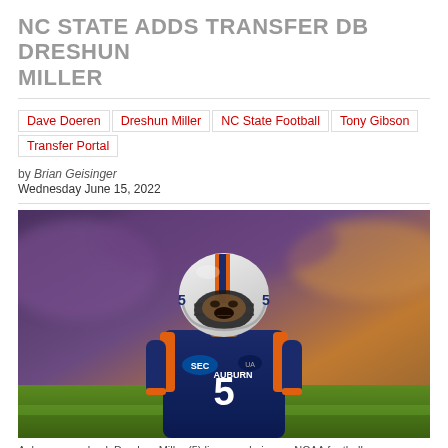NC STATE ADDS TRANSFER DB DRESHUN MILLER
Dave Doeren | Dreshun Miller | NC State Football | Tony Gibson | Transfer Portal
by Brian Geisinger
Wednesday June 15, 2022
[Figure (photo): Auburn cornerback Dreshun Miller (#5) in navy Auburn uniform with SEC logo, wearing white helmet with orange and navy stripe, in a football stance during a game.]
Auburn cornerback Dreshun Miller (5) lines up during an NCAA football game against LSU on Saturday, Oct. 2, 2021, in Baton Rouge, La. (AP Photo/Matthew Hinton)